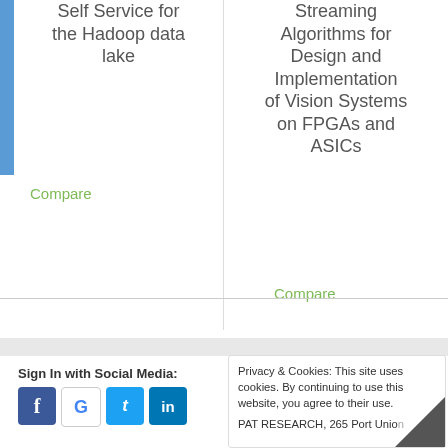Self Service for the Hadoop data lake
Compare
Streaming Algorithms for Design and Implementation of Vision Systems on FPGAs and ASICs
Compare
Sign In with Social Media:
Privacy & Cookies: This site uses cookies. By continuing to use this website, you agree to their use.
PAT RESEARCH, 265 Port Union